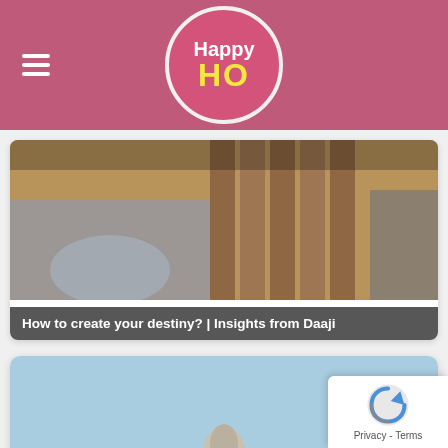Happy HO
[Figure (photo): Partial view of card showing how to create your destiny - insights from Daaji article thumbnail]
How to create your destiny? | Insights from Daaji
[Figure (photo): Large white statue of Lord Shiva seated in meditation pose on a lion pedestal, with trees and river in background]
Shiva is the Light of our Soul, the Essence of our Being